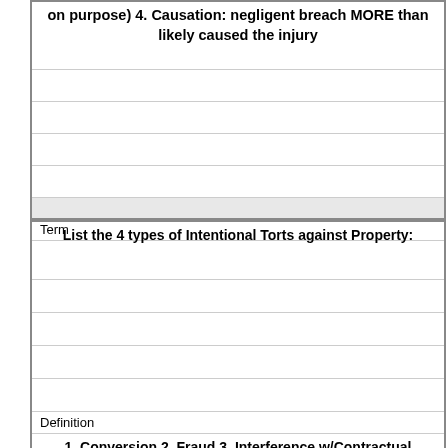on purpose) 4. Causation: negligent breach MORE than likely caused the injury
Term
List the 4 types of Intentional Torts against Property:
Definition
1. Conversion 2. Fraud 3. Interference w/Contractual